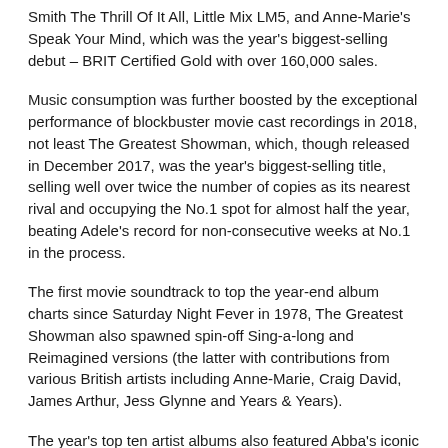Smith The Thrill Of It All, Little Mix LM5, and Anne-Marie's Speak Your Mind, which was the year's biggest-selling debut – BRIT Certified Gold with over 160,000 sales.
Music consumption was further boosted by the exceptional performance of blockbuster movie cast recordings in 2018, not least The Greatest Showman, which, though released in December 2017, was the year's biggest-selling title, selling well over twice the number of copies as its nearest rival and occupying the No.1 spot for almost half the year, beating Adele's record for non-consecutive weeks at No.1 in the process.
The first movie soundtrack to top the year-end album charts since Saturday Night Fever in 1978, The Greatest Showman also spawned spin-off Sing-a-long and Reimagined versions (the latter with contributions from various British artists including Anne-Marie, Craig David, James Arthur, Jess Glynne and Years & Years).
The year's top ten artist albums also featured Abba's iconic songs in the Cast Recording of Mamma Mia! Here We Go Again (No.4), and Grammy-nominated tracks by Lady Gaga and Bradley Cooper in the Cast Recording of A Star Is Born (No.7). Queen's catalogue benefited from the Bohemian Rhapsody biopic, with the film's Original Soundtrack (No.13) appearing in